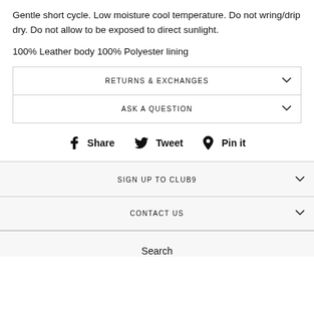Gentle short cycle. Low moisture cool temperature. Do not wring/drip dry. Do not allow to be exposed to direct sunlight.
100% Leather body 100% Polyester lining
RETURNS & EXCHANGES
ASK A QUESTION
Share  Tweet  Pin it
SIGN UP TO CLUB9
CONTACT US
Search